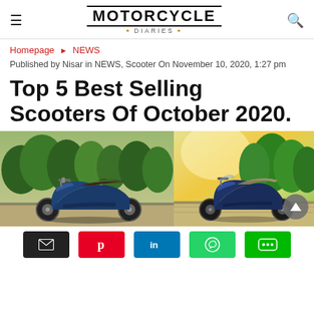Motorcycle Diaries
Homepage ▶ NEWS
Published by Nisar in NEWS, Scooter On November 10, 2020, 1:27 pm
Top 5 Best Selling Scooters Of October 2020.
[Figure (photo): Two scooters side by side: left shows a dark blue Honda Activa-style scooter on a road with green tree background; right shows a dark blue TVS Jupiter-style scooter on a road with bright green tree background]
Social share buttons: Email, Pinterest, LinkedIn, WhatsApp, LINE